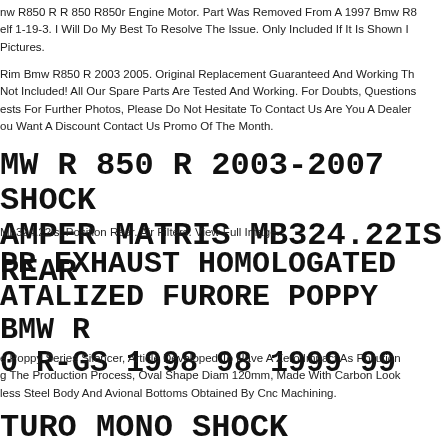nw R850 R R 850 R850r Engine Motor. Part Was Removed From A 1997 Bmw R8… elf 1-19-3. I Will Do My Best To Resolve The Issue. Only Included If It Is Shown I… Pictures.
Rim Bmw R850 R 2003 2005. Original Replacement Guaranteed And Working Th… Not Included! All Our Spare Parts Are Tested And Working. For Doubts, Questions… ests For Further Photos, Please Do Not Hesitate To Contact Us Are You A Dealer… ou Want A Discount Contact Us Promo Of The Month.
MW R 850 R 2003-2007 SHOCK AMPER MATRIS MB324.22IS REAR
Mb324.22is. Position Rear. Air Filters. View Full Image.
PR EXHAUST HOMOLOGATED ATALIZED FURORE POPPY BMW R 0 R-GS 1998 98 1999 99
e Poppy Series Silencer, Article Developed To Have A Zero Impact As Pollution g The Production Process, Oval Shape Diam 120mm, Made With Carbon Look less Steel Body And Avional Bottoms Obtained By Cnc Machining.
TURO MONO SHOCK ABSORBER